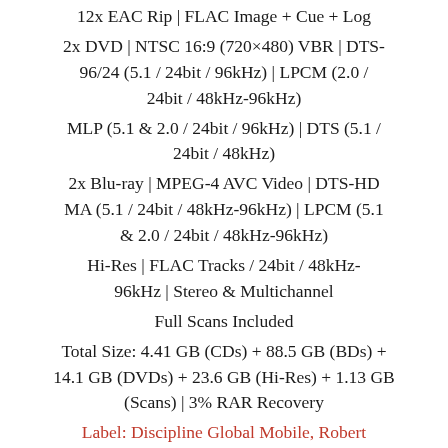12x EAC Rip | FLAC Image + Cue + Log
2x DVD | NTSC 16:9 (720×480) VBR | DTS-96/24 (5.1 / 24bit / 96kHz) | LPCM (2.0 / 24bit / 48kHz-96kHz)
MLP (5.1 & 2.0 / 24bit / 96kHz) | DTS (5.1 / 24bit / 48kHz)
2x Blu-ray | MPEG-4 AVC Video | DTS-HD MA (5.1 / 24bit / 48kHz-96kHz) | LPCM (5.1 & 2.0 / 24bit / 48kHz-96kHz)
Hi-Res | FLAC Tracks / 24bit / 48kHz-96kHz | Stereo & Multichannel
Full Scans Included
Total Size: 4.41 GB (CDs) + 88.5 GB (BDs) + 14.1 GB (DVDs) + 23.6 GB (Hi-Res) + 1.13 GB (Scans) | 3% RAR Recovery
Label: Discipline Global Mobile, Robert